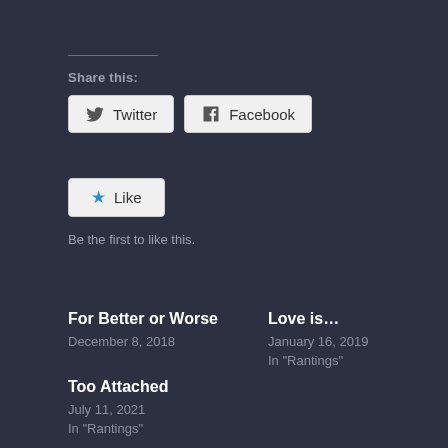Share this:
[Figure (other): Twitter and Facebook share buttons]
[Figure (other): Like button with star icon]
Be the first to like this.
For Better or Worse
December 8, 2018
Love is…
January 16, 2019
In "Rantings"
Too Attached
July 11, 2021
In "Rantings"